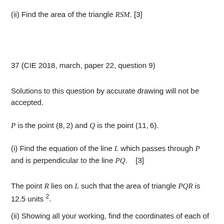(ii) Find the area of the triangle RSM. [3]
37 (CIE 2018, march, paper 22, question 9)
Solutions to this question by accurate drawing will not be accepted.
P is the point (8, 2) and Q is the point (11, 6).
(i) Find the equation of the line L which passes through P and is perpendicular to the line PQ.    [3]
The point R lies on L such that the area of triangle PQR is 12.5 units².
(ii) Showing all your working, find the coordinates of each of